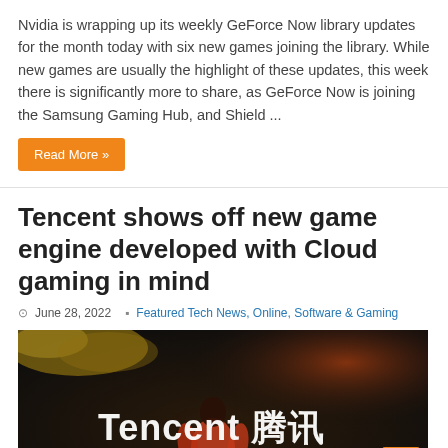Nvidia is wrapping up its weekly GeForce Now library updates for the month today with six new games joining the library. While new games are usually the highlight of these updates, this week there is significantly more to share, as GeForce Now is joining the Samsung Gaming Hub, and Shield ...
Read More »
Tencent shows off new game engine developed with Cloud gaming in mind
June 28, 2022   Featured Tech News, Online, Software & Gaming
[Figure (photo): A dark atmospheric game scene showing a person in colorful clothing from behind, with yellow flowers visible in the upper left. The text 'Tencent 腾讯' is overlaid in white bold font across the center of the image.]